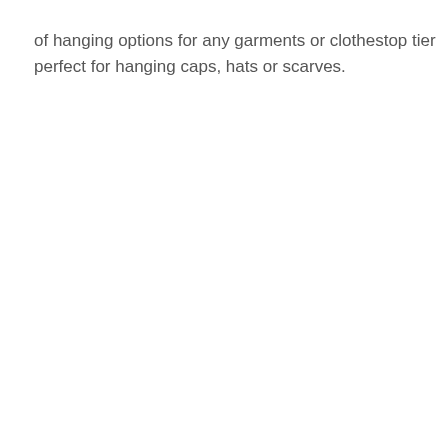of hanging options for any garments or clothestop tier perfect for hanging caps, hats or scarves.